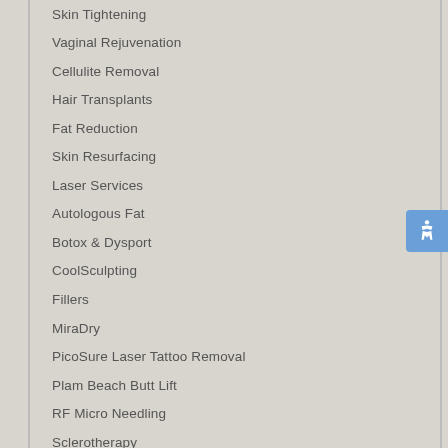Skin Tightening
Vaginal Rejuvenation
Cellulite Removal
Hair Transplants
Fat Reduction
Skin Resurfacing
Laser Services
Autologous Fat
Botox & Dysport
CoolSculpting
Fillers
MiraDry
PicoSure Laser Tattoo Removal
Plam Beach Butt Lift
RF Micro Needling
Sclerotherapy